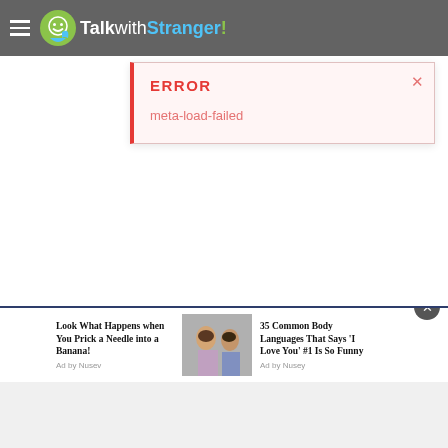TalkwithStranger!
[Figure (screenshot): Error notification box with red left border showing ERROR title and meta-load-failed message]
[Figure (screenshot): Advertisement bar at bottom: 'Look What Happens when You Prick a Needle into a Banana! Ad by Nusev' and '35 Common Body Languages That Says I Love You #1 Is So Funny Ad by Nusey' with a photo of a couple]